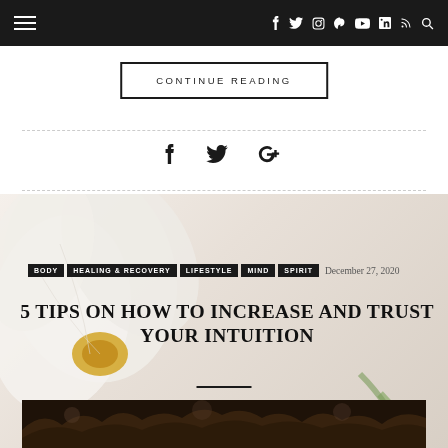Navigation bar with hamburger menu and social icons: f, Twitter, Instagram, Pinterest, YouTube, LinkedIn, RSS, Search
CONTINUE READING
[Figure (illustration): Social sharing icons row: Facebook (f), Twitter bird, Google+]
[Figure (photo): White orchid flower close-up on light background]
BODY  HEALING & RECOVERY  LIFESTYLE  MIND  SPIRIT  December 27, 2020
5 TIPS ON HOW TO INCREASE AND TRUST YOUR INTUITION
[Figure (photo): Forest trees canopy photo at bottom of page]